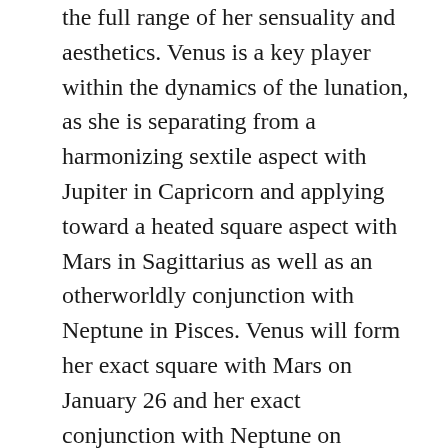the full range of her sensuality and aesthetics. Venus is a key player within the dynamics of the lunation, as she is separating from a harmonizing sextile aspect with Jupiter in Capricorn and applying toward a heated square aspect with Mars in Sagittarius as well as an otherworldly conjunction with Neptune in Pisces. Venus will form her exact square with Mars on January 26 and her exact conjunction with Neptune on January 27. There is rich paradox within these aspects: on one side the unconditional, boundless love of Venus and Neptune that delights in merging, on the other side the fiery individualism and freedom seeking of Mars in harsh aspect that can create conflict and separation while